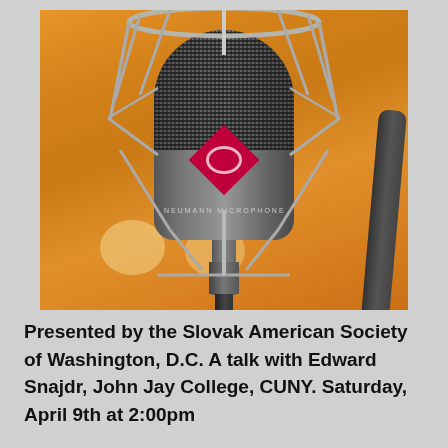[Figure (photo): Close-up photo of a Neumann studio condenser microphone in a shock mount cage, with an orange blurred background and bokeh light circles. The microphone has a distinctive red diamond logo and 'NEUMANN MICROPHONE' text on the body.]
Presented by the Slovak American Society of Washington, D.C. A talk with Edward Snajdr, John Jay College, CUNY. Saturday, April 9th at 2:00pm